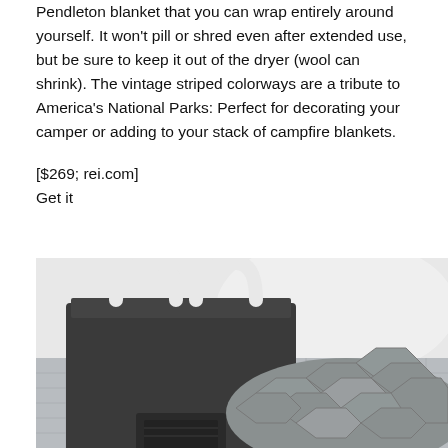Pendleton blanket that you can wrap entirely around yourself. It won't pill or shred even after extended use, but be sure to keep it out of the dryer (wool can shrink). The vintage striped colorways are a tribute to America's National Parks: Perfect for decorating your camper or adding to your stack of campfire blankets.
[$269; rei.com]
Get it
[Figure (photo): Black and white photo showing a dark tote bag with white handles on the left, and a grey quilted/hexagonal-patterned blanket or cushion on what appears to be a grey textured surface or mat.]